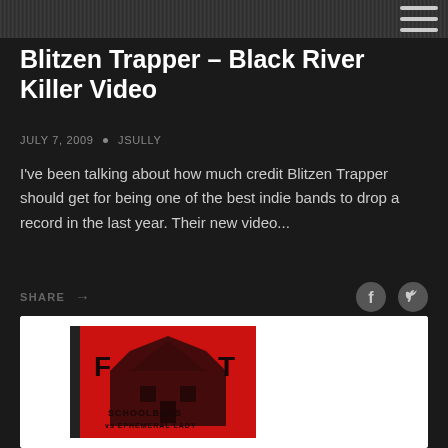[Figure (photo): Top dark textured banner image with partial navigation icon visible at top right]
Blitzen Trapper – Black River Killer Video
JULY 7, 2009 · JSULLY
I've been talking about how much credit Blitzen Trapper should get for being one of the best indie bands to drop a record in the last year. Their new video...
SHARE →
[Figure (photo): Album artwork on white card background — red cover with dark stylized building/house graphic and bold text reading 'FAST SCHOOLBOYS' or similar]